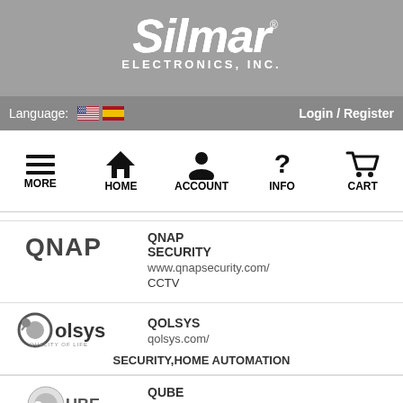[Figure (logo): Silmar Electronics Inc. logo in white italic text on gray background]
Language: [US flag] [Spain flag]    Login / Register
[Figure (infographic): Navigation bar with icons: MORE (hamburger), HOME (house), ACCOUNT (person), INFO (question mark), CART (shopping cart)]
[Figure (logo): QNAP logo]
QNAP SECURITY
www.qnapsecurity.com/
CCTV
[Figure (logo): Qolsys logo]
QOLSYS
qolsys.com/
SECURITY,HOME AUTOMATION
[Figure (logo): QUBE logo]
QUBE